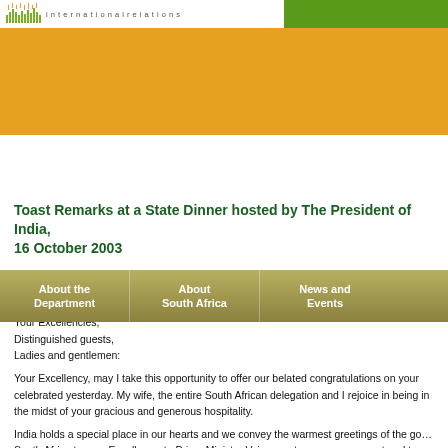South Africa Department of International Relations - Website header with logo and orange/green banner
About the Department | About South Africa | News and Events
Toast Remarks at a State Dinner hosted by The President of India, 16 October 2003
Your Excellency, President of India, Shri Dr Abdul Kalam,
Your Excellency, Prime Minister, Shri Atal Behari Vajpayee,
Honourable Ministers,
Your Excellencies,
Distinguished guests,
Ladies and gentlemen:
Your Excellency, may I take this opportunity to offer our belated congratulations on your celebrated yesterday. My wife, the entire South African delegation and I rejoice in being in the midst of your gracious and generous hospitality.
India holds a special place in our hearts and we convey the warmest greetings of the government of South Africa to your Excellency, to Prime Minister Vajpayee, to your government and to our comrades, the people of India.
As we know, India and South Africa share a special bond of kinship that goes back several India was as forcefully bound to South Africa as she was also intimately to help...